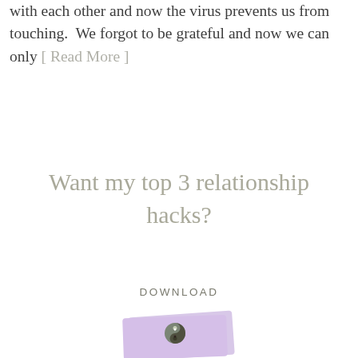with each other and now the virus prevents us from touching.  We forgot to be grateful and now we can only [ Read More ]
Want my top 3 relationship hacks?
DOWNLOAD
[Figure (illustration): A lavender/purple colored book or pamphlet with a yin-yang symbol incorporating a heart design on the cover.]